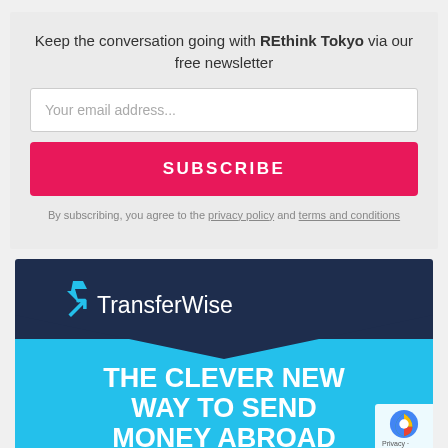Keep the conversation going with REthink Tokyo via our free newsletter
Your email address...
SUBSCRIBE
By subscribing, you agree to the privacy policy and terms and conditions
[Figure (logo): TransferWise advertisement banner with dark navy top section showing the TransferWise logo with lightning bolt arrow, and bright blue bottom section with text THE CLEVER NEW WAY TO SEND MONEY ABROAD]